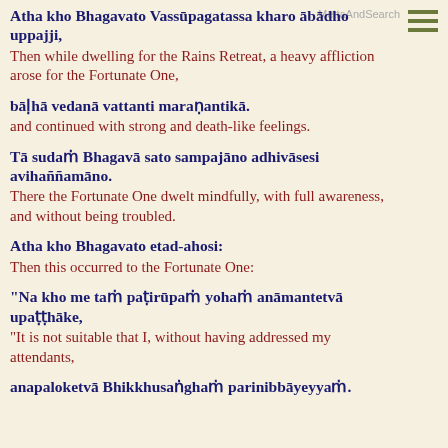Atha kho Bhagavato Vassūpagatassa kharo ābādho uppajji,
Then while dwelling for the Rains Retreat, a heavy affliction arose for the Fortunate One,
bāḷhā vedanā vattanti maraṇantikā.
and continued with strong and death-like feelings.
Tā sudaṁ Bhagavā sato sampajāno adhivāsesi avihaññamāno.
There the Fortunate One dwelt mindfully, with full awareness, and without being troubled.
Atha kho Bhagavato etad-ahosi:
Then this occurred to the Fortunate One:
“Na kho me taṁ paṭirūpaṁ yohaṁ anāmantetvā upaṭṭhāke,
“It is not suitable that I, without having addressed my attendants,
anapaloketvā Bhikkhusaṅghaṁ parinibbāyeyyaṁ.